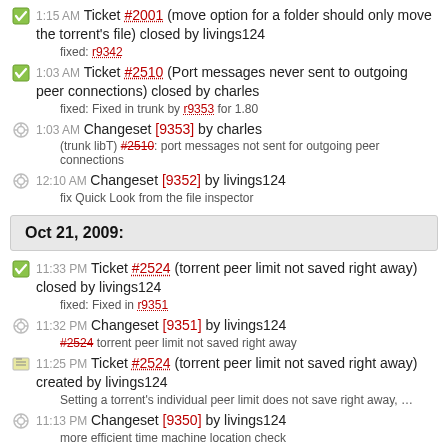1:15 AM Ticket #2001 (move option for a folder should only move the torrent's file) closed by livings124
fixed: r9342
1:03 AM Ticket #2510 (Port messages never sent to outgoing peer connections) closed by charles
fixed: Fixed in trunk by r9353 for 1.80
1:03 AM Changeset [9353] by charles
(trunk libT) #2510: port messages not sent for outgoing peer connections
12:10 AM Changeset [9352] by livings124
fix Quick Look from the file inspector
Oct 21, 2009:
11:33 PM Ticket #2524 (torrent peer limit not saved right away) closed by livings124
fixed: Fixed in r9351
11:32 PM Changeset [9351] by livings124
#2524 torrent peer limit not saved right away
11:25 PM Ticket #2524 (torrent peer limit not saved right away) created by livings124
Setting a torrent's individual peer limit does not save right away, …
11:13 PM Changeset [9350] by livings124
more efficient time machine location check